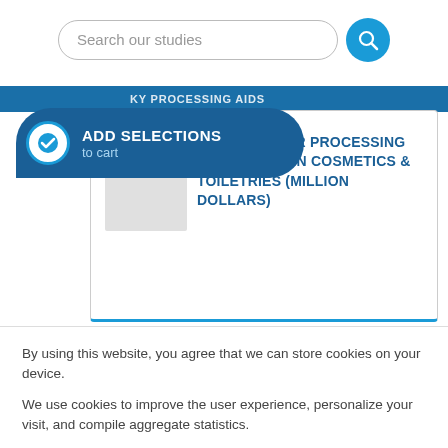Search our studies
TABLE | OTHER PROCESSING AID DEMAND IN COSMETICS & TOILETRIES (MILLION DOLLARS)
By using this website, you agree that we can store cookies on your device.
We use cookies to improve the user experience, personalize your visit, and compile aggregate statistics.
More information can be found in our Privacy Policy.
Accept
Decline